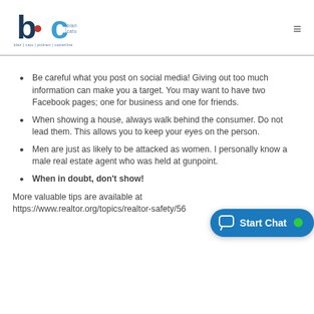blair | cato | pickren | casterline
Be careful what you post on social media!  Giving out too much information can make you a target.  You may want to have two Facebook pages; one for business and one for friends.
When showing a house, always walk behind the consumer. Do not lead them.  This allows you to keep your eyes on the person.
Men are just as likely to be attacked as women.  I personally know a male real estate agent who was held at gunpoint.
When in doubt, don't show!
More valuable tips are available at https://www.realtor.org/topics/realtor-safety/56